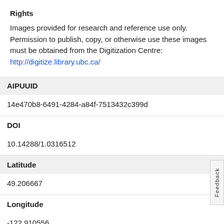Rights
Images provided for research and reference use only. Permission to publish, copy, or otherwise use these images must be obtained from the Digitization Centre: http://digitize.library.ubc.ca/
AIPUUID
14e470b8-6491-4284-a84f-7513432c399d
DOI
10.14288/1.0316512
Latitude
49.206667
Longitude
-122.910556
Aggregated Source Repository
CONTENTdm